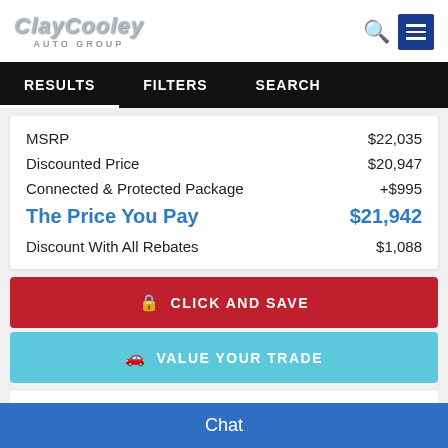[Figure (logo): Clay Cooley Auto Group logo with silver metallic italic text and 'AUTO GROUP' subtitle]
RESULTS   FILTERS   SEARCH
| Item | Price |
| --- | --- |
| MSRP | $22,035 |
| Discounted Price | $20,947 |
| Connected & Protected Package | +$995 |
| The Price You Pay | $21,942 |
| Discount With All Rebates | $1,088 |
CLICK AND SAVE
VALUE YOUR TRADE
New 2022 Nissan
Chat